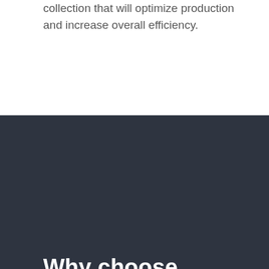collection that will optimize production and increase overall efficiency.
Why choose MWA?
Versatility and Customization. Every MWA project is adapted for each customer utilizing a dynamic approach from design to